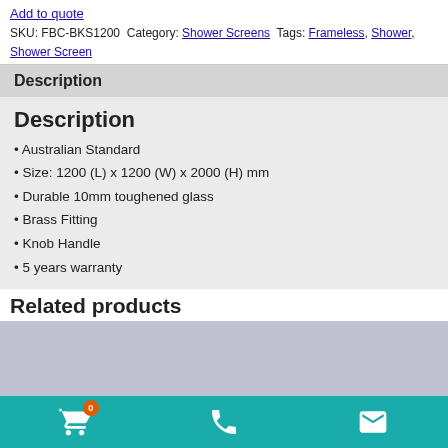Add to quote
SKU: FBC-BKS1200 Category: Shower Screens Tags: Frameless, Shower, Shower Screen
Description
Description
Australian Standard
Size: 1200 (L) x 1200 (W) x 2000 (H) mm
Durable 10mm toughened glass
Brass Fitting
Knob Handle
5 years warranty
Related products
[Figure (other): Related products image placeholder (grey area)]